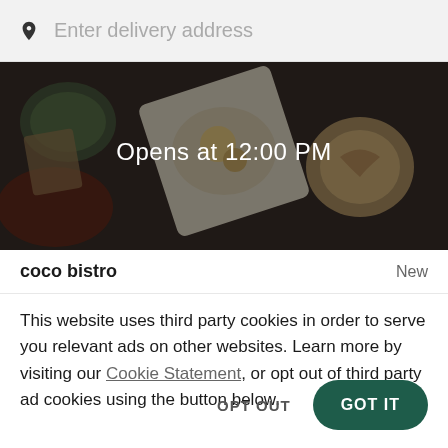Enter delivery address
[Figure (photo): Overhead view of food dishes on a wooden table with dark overlay, captioned 'Opens at 12:00 PM']
coco bistro
New
This website uses third party cookies in order to serve you relevant ads on other websites. Learn more by visiting our Cookie Statement, or opt out of third party ad cookies using the button below.
OPT OUT
GOT IT